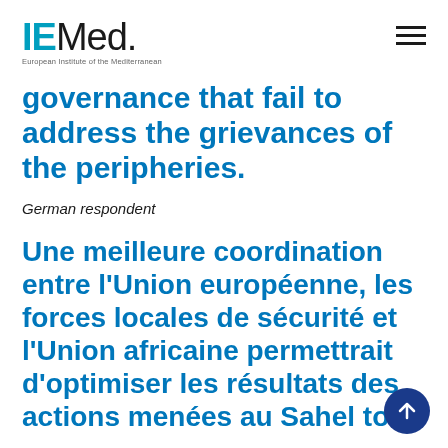IEMed. European Institute of the Mediterranean
governance that fail to address the grievances of the peripheries.
German respondent
Une meilleure coordination entre l'Union européenne, les forces locales de sécurité et l'Union africaine permettrait d'optimiser les résultats des actions menées au Sahel tout